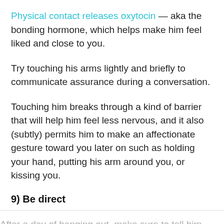Physical contact releases oxytocin — aka the bonding hormone, which helps make him feel liked and close to you.
Try touching his arms lightly and briefly to communicate assurance during a conversation.
Touching him breaks through a kind of barrier that will help him feel less nervous, and it also (subtly) permits him to make an affectionate gesture toward you later on such as holding your hand, putting his arm around you, or kissing you.
9) Be direct
After a day of hanging out, make sure to tell him you'd like to see him again when you part ways.